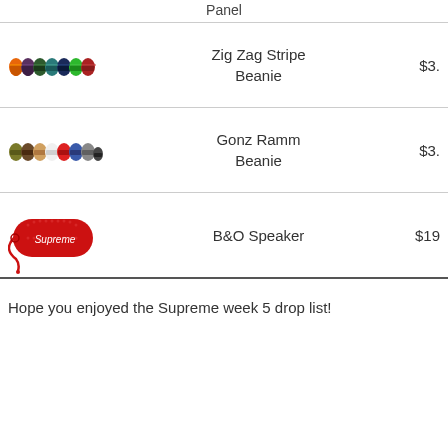Panel
| Image | Product | Price |
| --- | --- | --- |
| [Zig Zag Stripe Beanie image] | Zig Zag Stripe Beanie | $3. |
| [Gonz Ramm Beanie image] | Gonz Ramm Beanie | $3. |
| [B&O Speaker image] | B&O Speaker | $19 |
Hope you enjoyed the Supreme week 5 drop list!